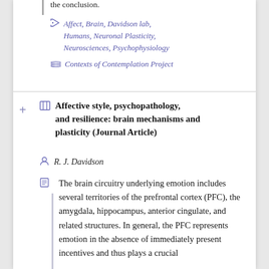the conclusion.
Affect, Brain, Davidson lab, Humans, Neuronal Plasticity, Neurosciences, Psychophysiology
Contexts of Contemplation Project
Affective style, psychopathology, and resilience: brain mechanisms and plasticity (Journal Article)
R. J. Davidson
The brain circuitry underlying emotion includes several territories of the prefrontal cortex (PFC), the amygdala, hippocampus, anterior cingulate, and related structures. In general, the PFC represents emotion in the absence of immediately present incentives and thus plays a crucial